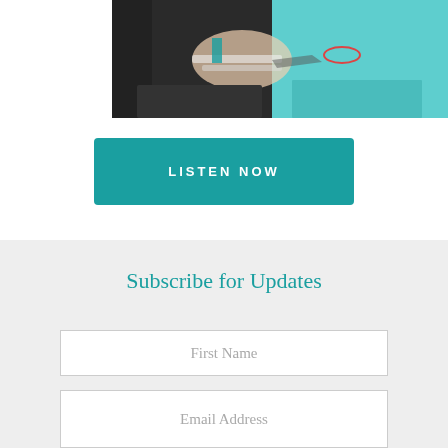[Figure (photo): Person sitting at a turquoise table outdoors, writing in a notebook with a laptop nearby, wearing a dark floral top]
LISTEN NOW
Subscribe for Updates
First Name
Email Address